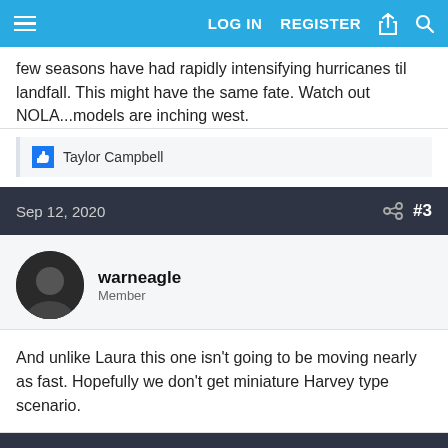LOG IN   REGISTER
few seasons have had rapidly intensifying hurricanes til landfall. This might have the same fate. Watch out NOLA...models are inching west.
Taylor Campbell
Sep 12, 2020   #3
warneagle
Member
And unlike Laura this one isn't going to be moving nearly as fast. Hopefully we don't get miniature Harvey type scenario.
Sep 12, 2020   #4